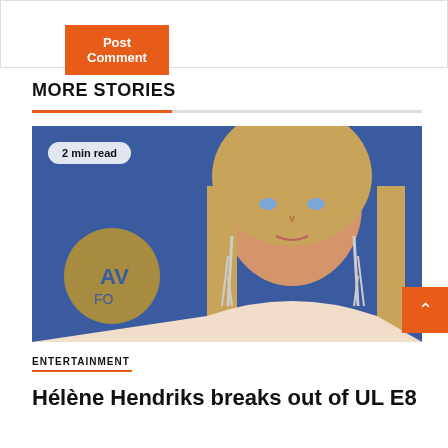Post Comment
MORE STORIES
[Figure (photo): Portrait photo of a blonde woman with blue eyes wearing silver chandelier earrings against a blue background, with a '2 min read' badge overlay]
ENTERTAINMENT
Hélène Hendriks breaks out of UL E8